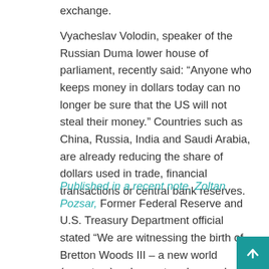exchange.
Vyacheslav Volodin, speaker of the Russian Duma lower house of parliament, recently said: “Anyone who keeps money in dollars today can no longer be sure that the US will not steal their money.” Countries such as China, Russia, India and Saudi Arabia, are already reducing the share of dollars used in trade, financial transactions or central bank reserves.
Published in a recent note, Zoltan Pozsar, Former Federal Reserve and U.S. Treasury Department official stated “We are witnessing the birth of Bretton Woods III – a new world (monetary) order centered around commodity-based currencies in the East, that will likely weaken the Eurodollar